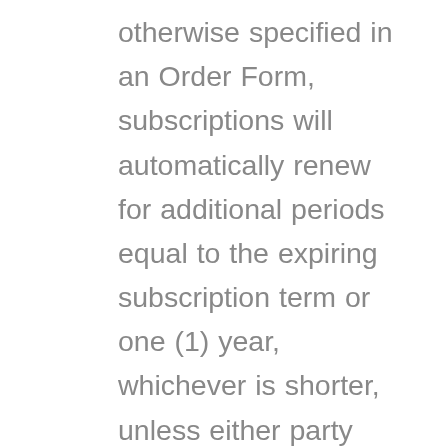otherwise specified in an Order Form, subscriptions will automatically renew for additional periods equal to the expiring subscription term or one (1) year, whichever is shorter, unless either party gives the other notice of non-renewal at least thirty (30) days before the end of the relevant subscription term. The per-unit pricing during any renewal term will increase by up to seven percent (7%) above the applicable pricing in the prior term, unless TCG provides you with notice of different pricing at least sixty (60) days prior to the applicable renewal term. Except as expressly provided in the applicable Order Form, renewal of promotional or one-time